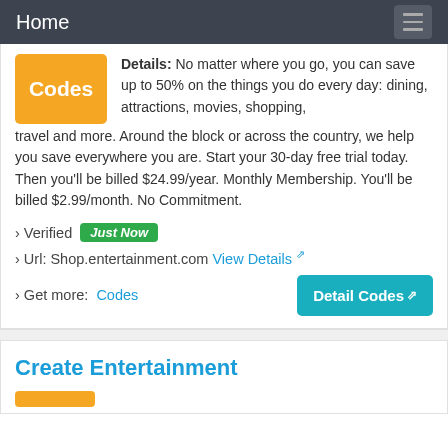Home
Details: No matter where you go, you can save up to 50% on the things you do every day: dining, attractions, movies, shopping, travel and more. Around the block or across the country, we help you save everywhere you are. Start your 30-day free trial today. Then you'll be billed $24.99/year. Monthly Membership. You'll be billed $2.99/month. No Commitment.
› Verified  Just Now
› Url: Shop.entertainment.com  View Details ↗
› Get more:  Codes
Detail Codes ↗
Create Entertainment